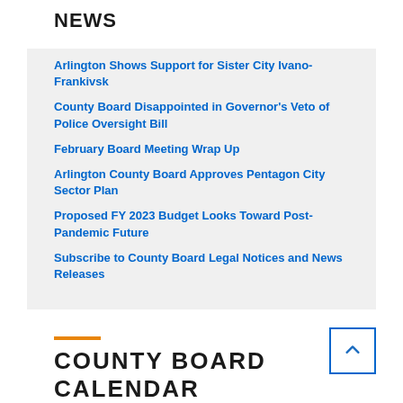NEWS
Arlington Shows Support for Sister City Ivano-Frankivsk
County Board Disappointed in Governor's Veto of Police Oversight Bill
February Board Meeting Wrap Up
Arlington County Board Approves Pentagon City Sector Plan
Proposed FY 2023 Budget Looks Toward Post-Pandemic Future
Subscribe to County Board Legal Notices and News Releases
COUNTY BOARD CALENDAR